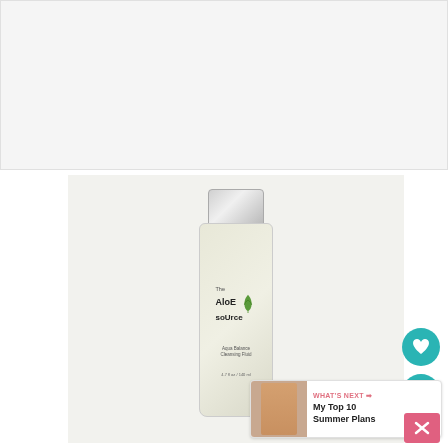[Figure (photo): Top banner area - light gray advertisement/content placeholder]
[Figure (photo): Product photo of The Aloe Source Aqua Balance Cleansing Fluid in a frosted glass bottle with silver cap, on a light gray background]
WHAT'S NEXT → My Top 10 Summer Plans